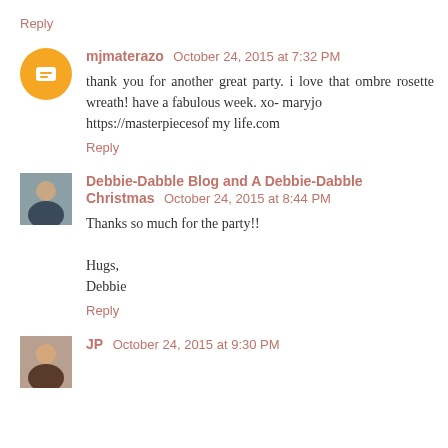Reply
mjmaterazo  October 24, 2015 at 7:32 PM
thank you for another great party. i love that ombre rosette wreath! have a fabulous week. xo- maryjo https://masterpiecesof my life.com
Reply
Debbie-Dabble Blog and A Debbie-Dabble Christmas  October 24, 2015 at 8:44 PM
Thanks so much for the party!!

Hugs,
Debbie
Reply
JP  October 24, 2015 at 9:30 PM